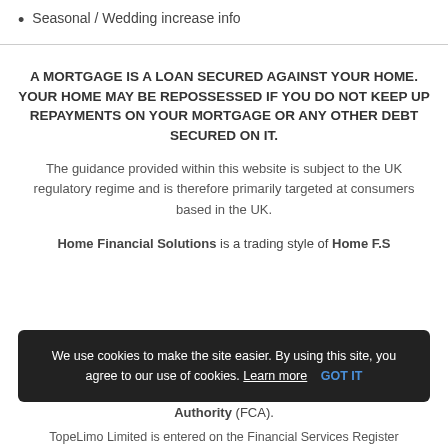Seasonal / Wedding increase info
A MORTGAGE IS A LOAN SECURED AGAINST YOUR HOME. YOUR HOME MAY BE REPOSSESSED IF YOU DO NOT KEEP UP REPAYMENTS ON YOUR MORTGAGE OR ANY OTHER DEBT SECURED ON IT.
The guidance provided within this website is subject to the UK regulatory regime and is therefore primarily targeted at consumers based in the UK.
Home Financial Solutions is a trading style of Home F.S
We use cookies to make the site easier. By using this site, you agree to our use of cookies. Learn more   GOT IT
Authority (FCA).
TopeLimo Limited is entered on the Financial Services Register